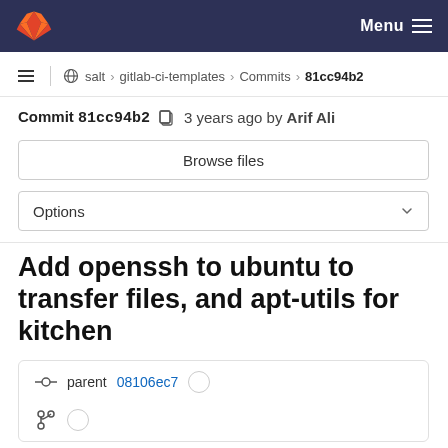Menu
salt > gitlab-ci-templates > Commits > 81cc94b2
Commit 81cc94b2  3 years ago by Arif Ali
Browse files
Options
Add openssh to ubuntu to transfer files, and apt-utils for kitchen
parent 08106ec7